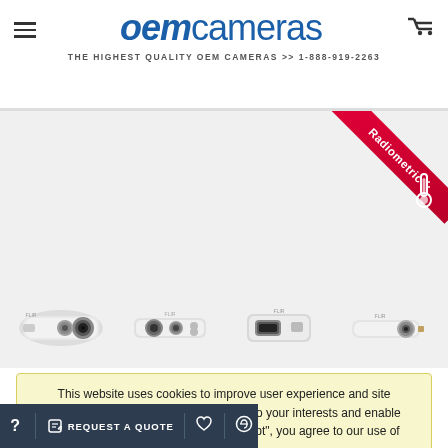oem cameras — THE HIGHEST QUALITY OEM CAMERAS >> 1-888-919-2263
[Figure (screenshot): Product page screenshot showing thermal/FLIR OEM cameras with a Radiometric ribbon banner in the top-right corner and four camera thumbnail images in a row]
This website uses cookies to improve user experience and site performance, offer advertising tailored to your interests and enable social media sharing. By clicking “Accept”, you agree to our use of
REQUEST A QUOTE